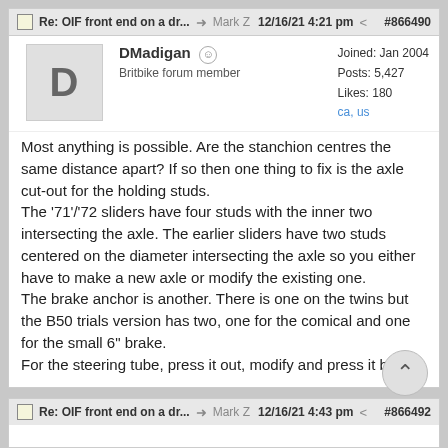Re: OIF front end on a dr... → Mark Z 12/16/21 4:21 pm < #866490
DMadigan
Britbike forum member
Joined: Jan 2004
Posts: 5,427
Likes: 180
ca, us
Most anything is possible. Are the stanchion centres the same distance apart? If so then one thing to fix is the axle cut-out for the holding studs.
The '71'/'72 sliders have four studs with the inner two intersecting the axle. The earlier sliders have two studs centered on the diameter intersecting the axle so you either have to make a new axle or modify the existing one.
The brake anchor is another. There is one on the twins but the B50 trials version has two, one for the comical and one for the small 6" brake.
For the steering tube, press it out, modify and press it back.
Re: OIF front end on a dr... → Mark Z 12/16/21 4:43 pm < #866492